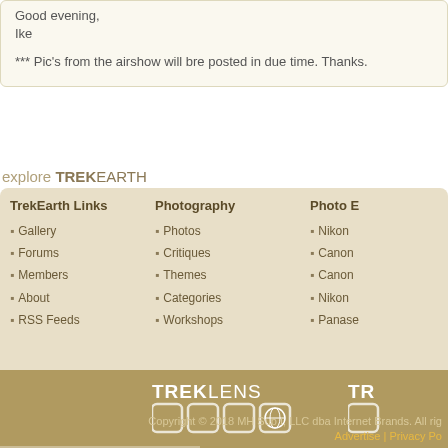Good evening,
Ike

*** Pic's from the airshow will bre posted in due time. Thanks.
explore TREKEARTH
TrekEarth Links
• Gallery
• Forums
• Members
• About
• RSS Feeds
Photography
• Photos
• Critiques
• Themes
• Categories
• Workshops
Photo E...
• Nikon...
• Canon...
• Canon...
• Nikon...
• Panase...
[Figure (logo): TREKLENS logo with icon boxes and partial second logo]
Copyright © 2018 MH Sub I, LLC dba Internet Brands. All rig...
Advertise | Privacy Po...